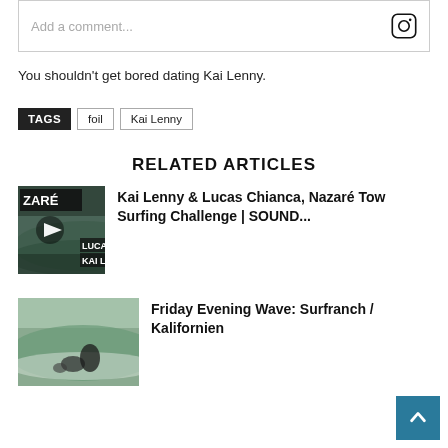Add a comment...
You shouldn't get bored dating Kai Lenny.
TAGS  foil  Kai Lenny
RELATED ARTICLES
Kai Lenny & Lucas Chianca, Nazaré Tow Surfing Challenge | SOUND...
[Figure (photo): Thumbnail for Nazaré Tow Surfing Challenge video with two surfers and text ZARE / LUCAS CHIA / KAI LENN]
Friday Evening Wave: Surfranch / Kalifornien
[Figure (photo): Thumbnail showing surfers on a wave at Surfranch / Kalifornien]